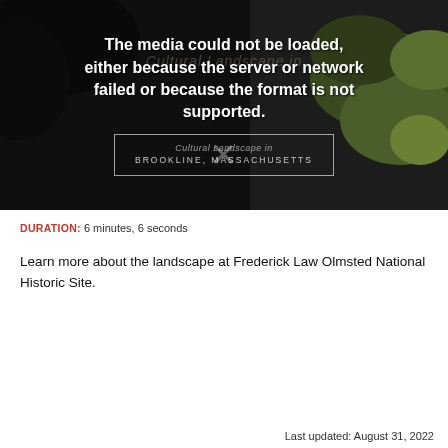[Figure (screenshot): Video player showing media load error overlay on a dark background with leaves. Error message: 'The media could not be loaded, either because the server or network failed or because the format is not supported.' A modal box reads 'Cultural Landscape in / Brookline, Massachusetts' with an X close button.]
DURATION:  6 minutes, 6 seconds
Learn more about the landscape at Frederick Law Olmsted National Historic Site.
Last updated: August 31, 2022